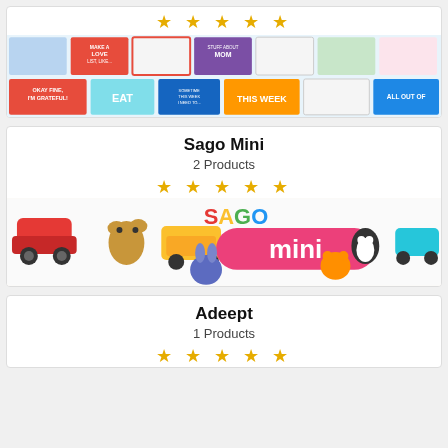[Figure (other): Star rating (5 stars, gold) for first brand card]
[Figure (photo): Banner image of colorful notepads and planners on light blue background with text 'OKAY FINE, I'M GRATEFUL!', 'EAT', 'THIS WEEK', 'ALL OUT OF', 'MOM']
Sago Mini
2 Products
[Figure (other): Star rating (5 stars, gold) for Sago Mini]
[Figure (photo): Sago Mini brand banner with colorful toy figures (cars, animals, characters) and SAGO mini logo on white background]
Adeept
1 Products
[Figure (other): Star rating (5 stars, gold) for Adeept]